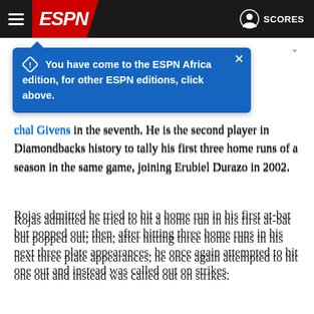[Figure (screenshot): ESPN website navigation bar with hamburger menu, ESPN logo on red background, user icon and SCORES label on dark background]
You have come to the ESPN Africa edition, for other ESPN editions, click above.
chal Givens in the seventh. He is the second player in Diamondbacks history to tally his first three home runs of a season in the same game, joining Erubiel Durazo in 2002.
Rojas admitted he tried to hit a home run in his first at-bat but popped out; then, after hitting three home runs in his next three plate appearances, he once again attempted to hit one out and instead was called out on strikes.
"First at-bat I was trying to hit a homer," Rojas said with a smile. "It didn't work out ... I was definitely trying to hit a fourth home run, especially with a good lead."
Said Arizona manager Torey Lovullo: "When you try to